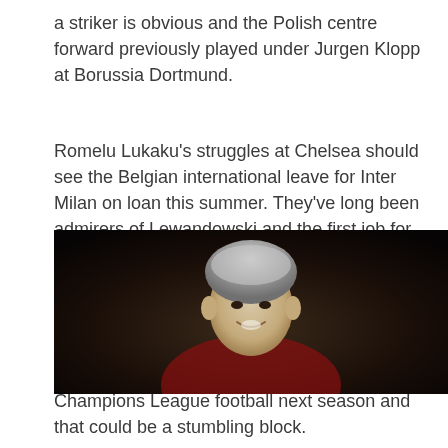a striker is obvious and the Polish centre forward previously played under Jurgen Klopp at Borussia Dortmund.
Romelu Lukaku’s struggles at Chelsea should see the Belgian international leave for Inter Milan on loan this summer. They’ve long been admirers of Lewandowski and the first job for the club’s new owners may be to sanction a bid.
Manchester United are also in the frame. They would not be able to offer the player Champions League football next season and that could be a stumbling block.
[Figure (photo): Photograph of a football player with grey/silver hair, smiling, wearing a red or dark jersey, photographed in a stadium setting with a blurred dark background.]